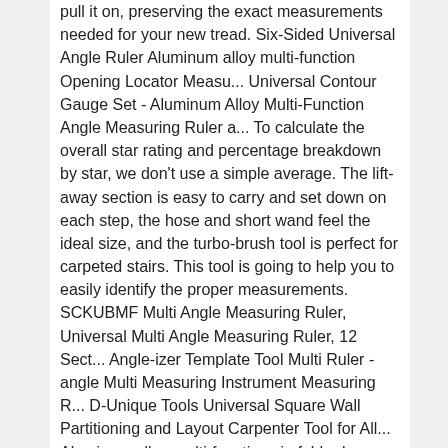pull it on, preserving the exact measurements needed for your new tread. Six-Sided Universal Angle Ruler Aluminum alloy multi-function Opening Locator Measu... Universal Contour Gauge Set - Aluminum Alloy Multi-Function Angle Measuring Ruler a... To calculate the overall star rating and percentage breakdown by star, we don't use a simple average. The lift-away section is easy to carry and set down on each step, the hose and short wand feel the ideal size, and the turbo-brush tool is perfect for carpeted stairs. This tool is going to help you to easily identify the proper measurements. SCKUBMF Multi Angle Measuring Ruler, Universal Multi Angle Measuring Ruler, 12 Sect... Angle-izer Template Tool Multi Ruler - angle Multi Measuring Instrument Measuring R... D-Unique Tools Universal Square Wall Partitioning and Layout Carpenter Tool for All... Aluminum alloy multi-function six-fold ruler angle finder universal angler ruler me... Saker Contour Gauge (5 Inch Lock) Profile Tool- Adjustable Lock-Precisely Copy Irre... Oscillating Saw Blades 25 PC Metal Wood Multitool Blades Quick Release Cutting Blad... KASTFORCE KF4011 20pcs Deck Railing Brackets Connectors for 2x4 (1.5x3.5) Railing W... Mr. Pen- Rafter Square, Metal Square, 7 Inch, Carpenters Square, Square Tool, Metal... Woodraphic